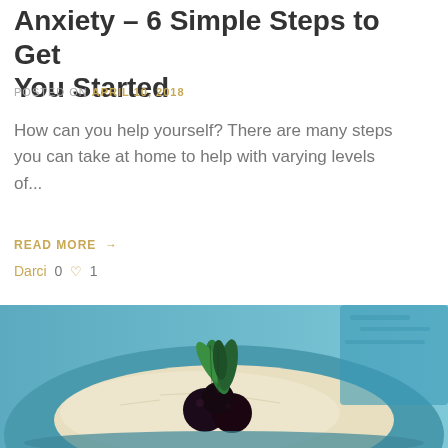Anxiety – 6 Simple Steps to Get You Started
POSTED ON APRIL 10, 2018
How can you help yourself? There are many steps you can take at home to help with varying levels of...
READ MORE →
Darci 0 ♡ 1
[Figure (photo): Close-up photo of a dessert or food item with blueberries and green mint leaves on a teal/blue plate, with a teal fabric background]